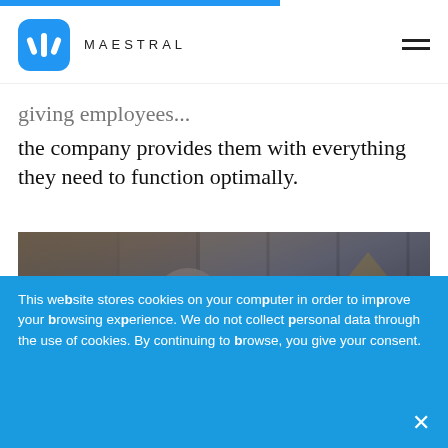MAESTRAL
the company provides them with everything they need to function optimally.
[Figure (photo): A smiling man in a white shirt standing in a modern office with glass walls and dark frames. Another person is partially visible in the background.]
This website stores cookies on your computer in order to improve your browsing experience. We do not collect personal data through the use of cookies. By continuing to browse, you give your consent.